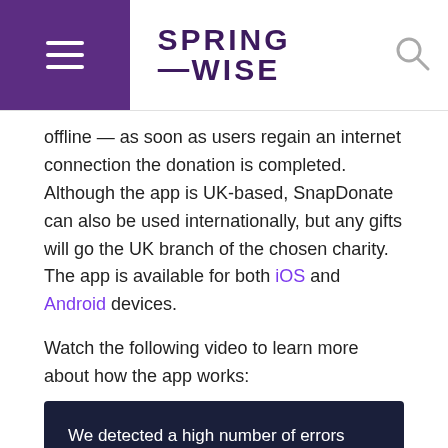SPRING WISE
offline — as soon as users regain an internet connection the donation is completed. Although the app is UK-based, SnapDonate can also be used internationally, but any gifts will go the UK branch of the chosen charity. The app is available for both iOS and Android devices.
Watch the following video to learn more about how the app works:
[Figure (screenshot): Vimeo error screen with dark navy background. Text reads: 'We detected a high number of errors from your connection. To continue, please confirm that youâ€™re a human (and not a spambot).' Vimeo logo in white italic text at bottom.]